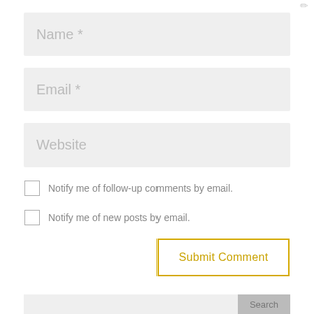Name *
Email *
Website
Notify me of follow-up comments by email.
Notify me of new posts by email.
Submit Comment
Search